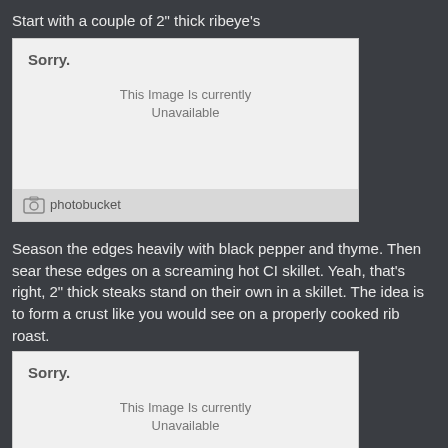Start with a couple of 2" thick ribeye's
[Figure (other): Photobucket placeholder image - Sorry. This Image Is currently Unavailable.]
Season the edges heavily with black pepper and thyme. Then sear these edges on a screaming hot CI skillet. Yeah, that's right, 2" thick steaks stand on their own in a skillet. The idea is to form a crust like you would see on a properly cooked rib roast.
[Figure (other): Photobucket placeholder image - Sorry. This Image Is currently Unavailable.]
Seared edges and the steaks are ready for a 134° bath.
[Figure (other): Photobucket placeholder image - partial bar visible at bottom]